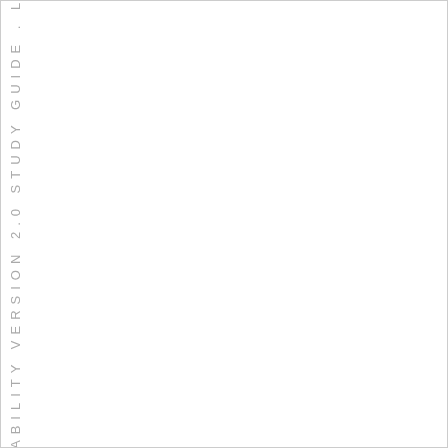ABILITY VERSION 2.0 STUDY GUIDE . L